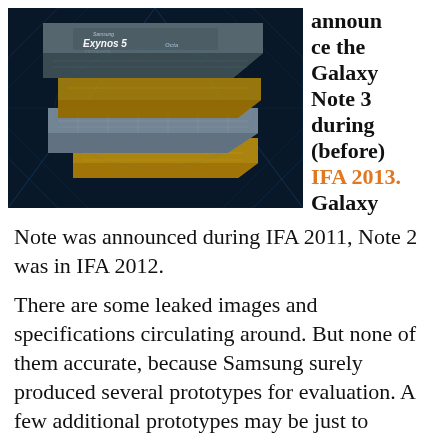[Figure (photo): Samsung Exynos 5 Octa processor chip, exploded view showing layered circuit boards, dark blue background]
announce the Galaxy Note 3 during (before) IFA 2013. Galaxy Note was announced during IFA 2011, Note 2 was in IFA 2012.
There are some leaked images and specifications circulating around. But none of them accurate, because Samsung surely produced several prototypes for evaluation. A few additional prototypes may be just to